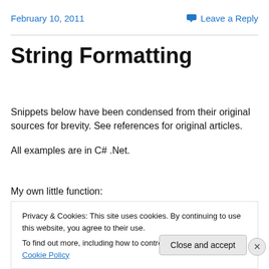February 10, 2011    Leave a Reply
String Formatting
Snippets below have been condensed from their original sources for brevity. See references for original articles.
All examples are in C# .Net.
My own little function:
Privacy & Cookies: This site uses cookies. By continuing to use this website, you agree to their use. To find out more, including how to control cookies, see here: Cookie Policy
Close and accept